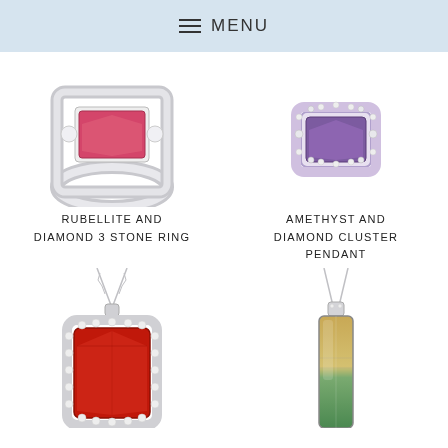MENU
[Figure (photo): Rubellite and diamond 3 stone ring, partially visible at top]
[Figure (photo): Amethyst and diamond cluster pendant, partially visible at top]
RUBELLITE AND DIAMOND 3 STONE RING
AMETHYST AND DIAMOND CLUSTER PENDANT
[Figure (photo): Red garnet and diamond halo pendant necklace]
[Figure (photo): Bi-color tourmaline elongated pendant necklace]